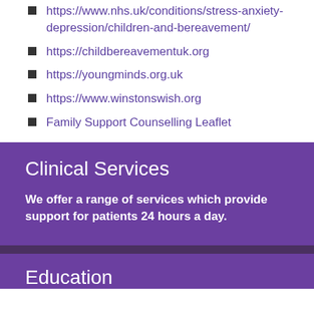https://www.nhs.uk/conditions/stress-anxiety-depression/children-and-bereavement/
https://childbereavementuk.org
https://youngminds.org.uk
https://www.winstonswish.org
Family Support Counselling Leaflet
Clinical Services
We offer a range of services which provide support for patients 24 hours a day.
Education